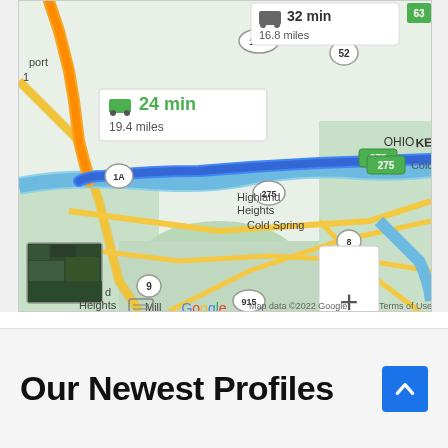[Figure (map): Google Maps screenshot showing driving routes between Ohio and Kentucky area near Cincinnati. Shows a route highlighted in blue along I-275, with an orange highlighted alternate route. Info box shows '24 min, 19.4 miles' for the primary route and '32 min, 16.8 miles' for an alternate. Place names visible: OHIO, KENTUCKY, Coldstream, Highland Heights, Cold Spring, Ross, Camp Springs, Mill. Road numbers: 52, 1120, 275, 1A, 8, 547, 9, 915, 27, 1997, 63. Map data ©2022 Google, Terms of Use. Zoom controls (+/-) visible. Small satellite thumbnail in lower left.]
Our Newest Profiles